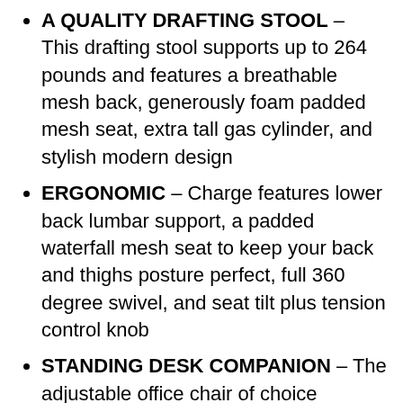A QUALITY DRAFTING STOOL – This drafting stool supports up to 264 pounds and features a breathable mesh back, generously foam padded mesh seat, extra tall gas cylinder, and stylish modern design
ERGONOMIC – Charge features lower back lumbar support, a padded waterfall mesh seat to keep your back and thighs posture perfect, full 360 degree swivel, and seat tilt plus tension control knob
STANDING DESK COMPANION – The adjustable office chair of choice complete with a sturdy steel footring, Charge allows you to both stand or sit at work. Dimensions: 26.5″L x 27.5″W x 44″H